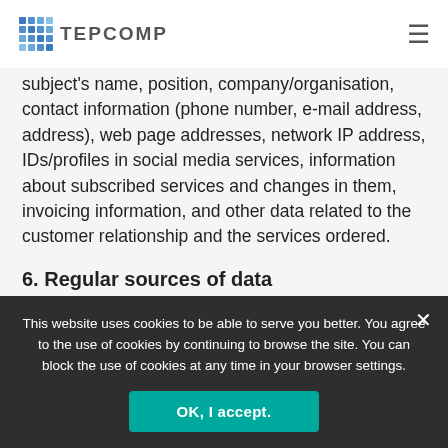TEPCOMP
subject's name, position, company/organisation, contact information (phone number, e-mail address, address), web page addresses, network IP address, IDs/profiles in social media services, information about subscribed services and changes in them, invoicing information, and other data related to the customer relationship and the services ordered.
6. Regular sources of data
This website uses cookies to be able to serve you better. You agree to the use of cookies by continuing to browse the site. You can block the use of cookies at any time in your browser settings.
OK, I accept.